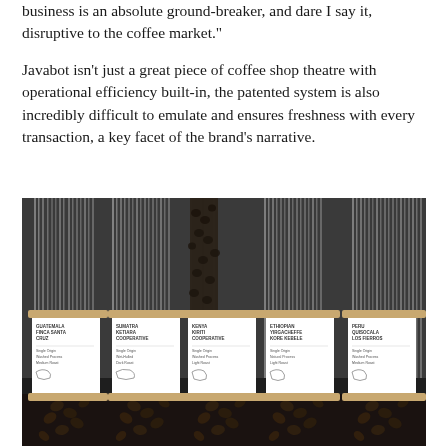business is an absolute ground-breaker, and dare I say it, disruptive to the coffee market."
Javabot isn't just a great piece of coffee shop theatre with operational efficiency built-in, the patented system is also incredibly difficult to emulate and ensures freshness with every transaction, a key facet of the brand's narrative.
[Figure (photo): A row of five transparent coffee bean dispensers mounted on a wall, each with a white label card showing coffee origin information and coffee beans visible at the bottom of each tube.]